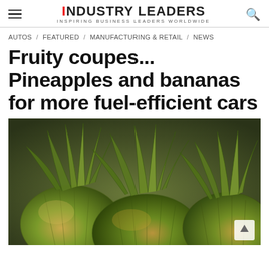INDUSTRY LEADERS — INSPIRING BUSINESS LEADERS WORLDWIDE
AUTOS / FEATURED / MANUFACTURING & RETAIL / NEWS
Fruity coupes... Pineapples and bananas for more fuel-efficient cars
[Figure (photo): Close-up photograph of multiple green pineapples clustered together showing their spiky crowns and textured skin]